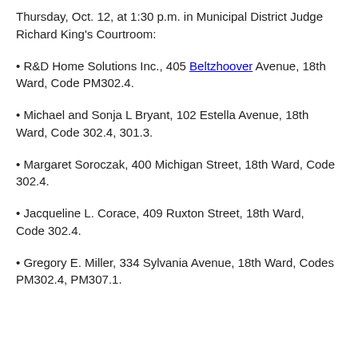Thursday, Oct. 12, at 1:30 p.m. in Municipal District Judge Richard King's Courtroom:
• R&D Home Solutions Inc., 405 Beltzhoover Avenue, 18th Ward, Code PM302.4.
• Michael and Sonja L Bryant, 102 Estella Avenue, 18th Ward, Code 302.4, 301.3.
• Margaret Soroczak, 400 Michigan Street, 18th Ward, Code 302.4.
• Jacqueline L. Corace, 409 Ruxton Street, 18th Ward, Code 302.4.
• Gregory E. Miller, 334 Sylvania Avenue, 18th Ward, Codes PM302.4, PM307.1.